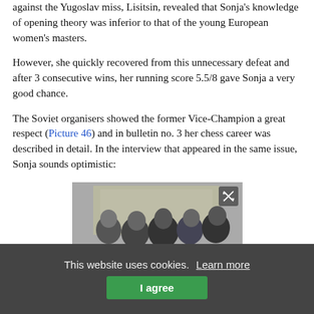…against the Yugoslav miss, Lisitsin, revealed that Sonja's knowledge of opening theory was inferior to that of the young European women's masters.
However, she quickly recovered from this unnecessary defeat and after 3 consecutive wins, her running score 5.5/8 gave Sonja a very good chance.
The Soviet organisers showed the former Vice-Champion a great respect (Picture 46) and in bulletin no. 3 her chess career was described in detail. In the interview that appeared in the same issue, Sonja sounds optimistic:
[Figure (photo): Black and white photograph of several men gathered around what appears to be a chess board, looking down at it. A painting or artwork is visible in the background.]
This website uses cookies.
Learn more
I agree